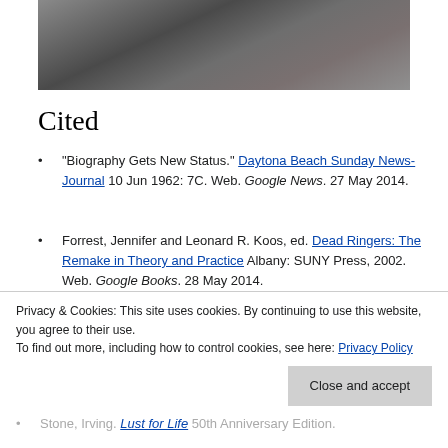[Figure (photo): Close-up black and white photo of a man's face looking downward]
Cited
"Biography Gets New Status." Daytona Beach Sunday News-Journal 10 Jun 1962: 7C. Web. Google News. 27 May 2014.
Forrest, Jennifer and Leonard R. Koos, ed. Dead Ringers: The Remake in Theory and Practice Albany: SUNY Press, 2002. Web. Google Books. 28 May 2014.
Privacy & Cookies: This site uses cookies. By continuing to use this website, you agree to their use.
To find out more, including how to control cookies, see here: Privacy Policy
Stone, Irving. Lust for Life 50th Anniversary Edition.